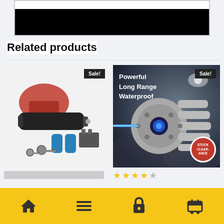[Figure (screenshot): Top portion showing a product page with black image area]
Related products
[Figure (photo): Left product card: laser pointer set with red cap, black device, batteries, charger, keys; Sale! badge]
[Figure (photo): Right product card: Powerful Long Range Waterproof laser device on dark dramatic background, Stock Clearance badge; Sale! badge]
★★★★☆
[Figure (infographic): Bottom yellow navigation bar with home, menu, lock, cart icons]